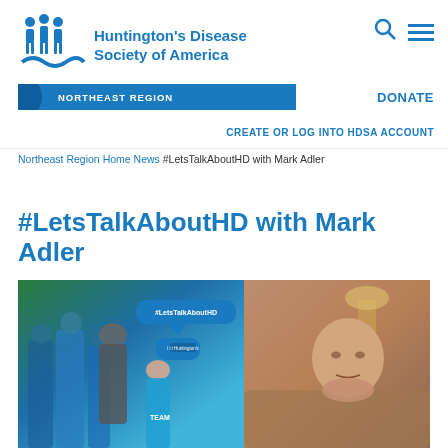[Figure (logo): Huntington's Disease Society of America logo with people icons in blue, accompanied by the text 'Huntington's Disease Society of America' and a blue bar reading 'NORTHEAST REGION']
DONATE
CREATE OR LOG INTO HDSA ACCOUNT
Northeast Region Home News #LetsTalkAboutHD with Mark Adler
#LetsTalkAboutHD with Mark Adler
[Figure (photo): Split photo: left side shows people in teal TEAM shirts at an outdoor event with #LetsTalkAboutHD speech bubble overlay; right side shows a close-up portrait of a bald man (Mark Adler) indoors.]